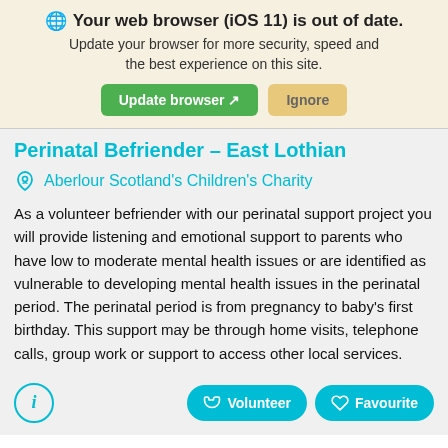Your web browser (iOS 11) is out of date. Update your browser for more security, speed and the best experience on this site.
Perinatal Befriender – East Lothian
Aberlour Scotland's Children's Charity
As a volunteer befriender with our perinatal support project you will provide listening and emotional support to parents who have low to moderate mental health issues or are identified as vulnerable to developing mental health issues in the perinatal period. The perinatal period is from pregnancy to baby's first birthday. This support may be through home visits, telephone calls, group work or support to access other local services.